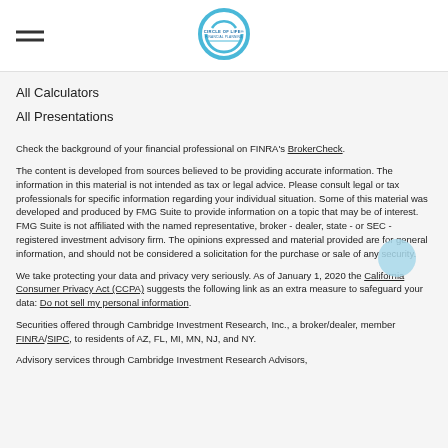Circle of Life Financial Planning [logo]
All Calculators
All Presentations
Check the background of your financial professional on FINRA's BrokerCheck.
The content is developed from sources believed to be providing accurate information. The information in this material is not intended as tax or legal advice. Please consult legal or tax professionals for specific information regarding your individual situation. Some of this material was developed and produced by FMG Suite to provide information on a topic that may be of interest. FMG Suite is not affiliated with the named representative, broker - dealer, state - or SEC - registered investment advisory firm. The opinions expressed and material provided are for general information, and should not be considered a solicitation for the purchase or sale of any security.
We take protecting your data and privacy very seriously. As of January 1, 2020 the California Consumer Privacy Act (CCPA) suggests the following link as an extra measure to safeguard your data: Do not sell my personal information.
Securities offered through Cambridge Investment Research, Inc., a broker/dealer, member FINRA/SIPC, to residents of AZ, FL, MI, MN, NJ, and NY.
Advisory services through Cambridge Investment Research Advisors,